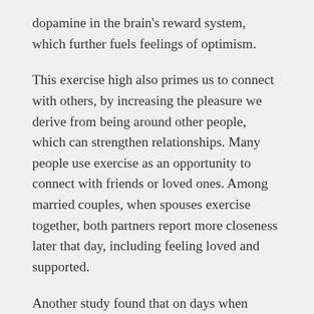dopamine in the brain's reward system, which further fuels feelings of optimism.
This exercise high also primes us to connect with others, by increasing the pleasure we derive from being around other people, which can strengthen relationships. Many people use exercise as an opportunity to connect with friends or loved ones. Among married couples, when spouses exercise together, both partners report more closeness later that day, including feeling loved and supported.
Another study found that on days when people exercise, they report more positive interactions with friends and family. As one runner said to me, “My family will sometimes send me out running, as they know that I will come back a much better